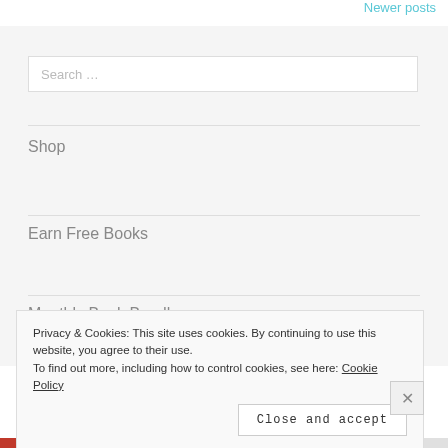Newer posts
[Figure (screenshot): Search input box with placeholder text 'Search ...']
Shop
Earn Free Books
Monthly Book Bundle
Privacy & Cookies: This site uses cookies. By continuing to use this website, you agree to their use.
To find out more, including how to control cookies, see here: Cookie Policy
Close and accept